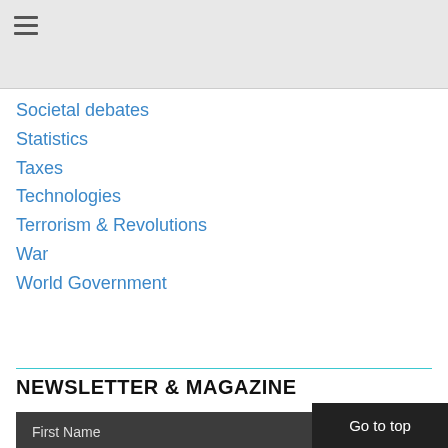≡ (hamburger menu)
Societal debates
Statistics
Taxes
Technologies
Terrorism & Revolutions
War
World Government
NEWSLETTER & MAGAZINE
I would like to receive the magazine by email
I would like to receive the newsletter by email
Title
Select one
First Name
Go to top